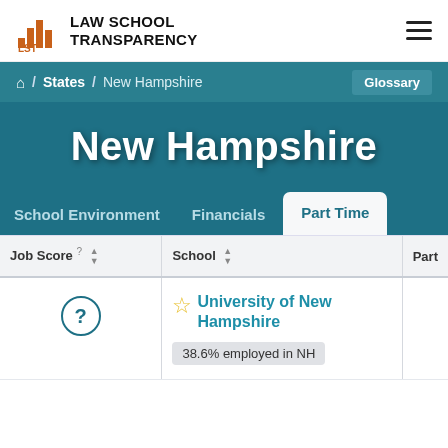[Figure (logo): Law School Transparency logo with bar chart icon and text]
LAW SCHOOL TRANSPARENCY
/ States / New Hampshire
Glossary
New Hampshire
School Environment  Financials  Part Time
| Job Score ? | School | Part |
| --- | --- | --- |
| ? | University of New Hampshire
38.6% employed in NH |  |